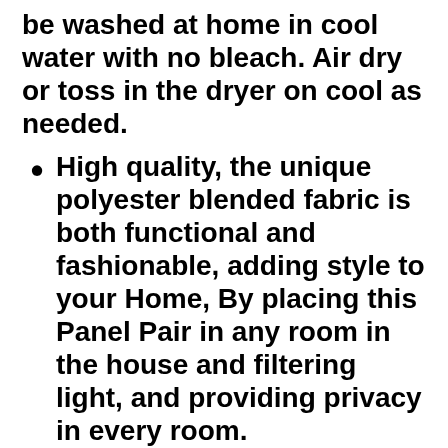be washed at home in cool water with no bleach. Air dry or toss in the dryer on cool as needed.
High quality, the unique polyester blended fabric is both functional and fashionable, adding style to your Home, By placing this Panel Pair in any room in the house and filtering light, and providing privacy in every room.
Soft linen-like fabric with an elegant ombre gradient embroidered chenille floral design, Siliva evokes a